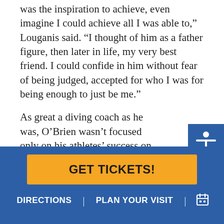was the inspiration to achieve, even imagine I could achieve all I was able to,” Louganis said. “I thought of him as a father figure, then later in life, my very best friend. I could confide in him without fear of being judged, accepted for who I was for being enough to just be me.”
As great a diving coach as he was, O’Brien wasn’t focused only on his athletes’ success on the board. It was important to him that their lives were successful after diving as well.
“What I was really doing was finding talented divers who were willing to work hard and abide by my rules but at the same time, now I look back and I think I
[Figure (illustration): Blue square button with white accessibility icon (person with arms outstretched)]
[Figure (illustration): Orange square button with white dollar sign and hand icons]
GET TICKETS!
DIRECTIONS | PLAN YOUR VISIT | [calendar icon]